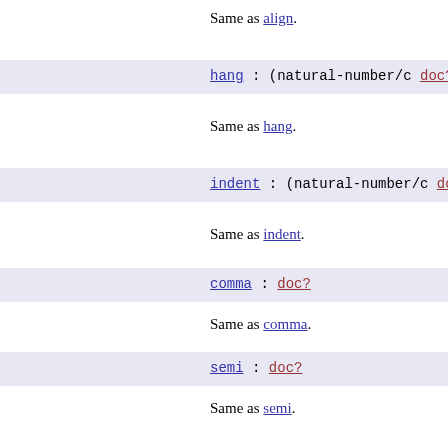Same as align.
hang : (natural-number/c doc? ->
Same as hang.
indent : (natural-number/c doc?
Same as indent.
comma : doc?
Same as comma.
semi : doc?
Same as semi.
colon : doc?
Same as colon.
lparen : doc?
Same as lparen.